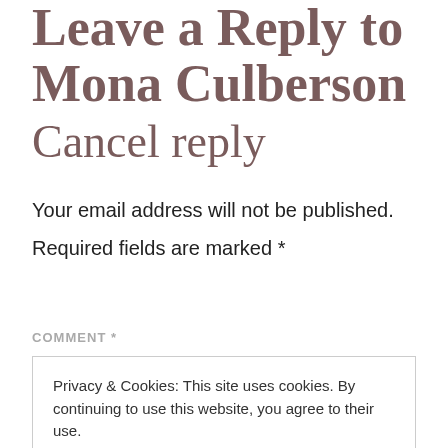Leave a Reply to Mona Culberson Cancel reply
Your email address will not be published.
Required fields are marked *
COMMENT *
Privacy & Cookies: This site uses cookies. By continuing to use this website, you agree to their use. To find out more, including how to control cookies, see here: Cookie Policy
Close and accept
NAME